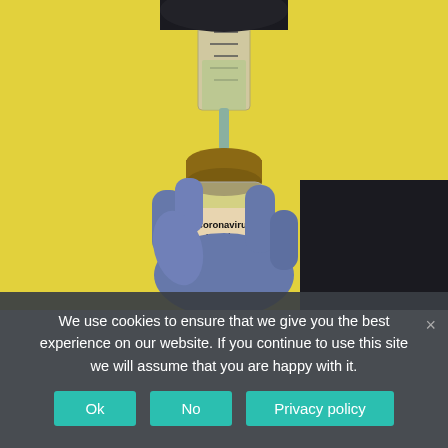[Figure (photo): A gloved hand (blue nitrile glove) holding a glass vaccine vial labeled 'Coronavirus Vaccine COVID-19 Injection Only', with a syringe being inserted into the vial's rubber stopper. Yellow background.]
We use cookies to ensure that we give you the best experience on our website. If you continue to use this site we will assume that you are happy with it.